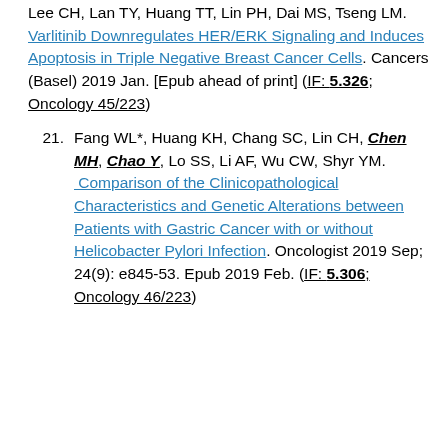Lee CH, Lan TY, Huang TT, Lin PH, Dai MS, Tseng LM. Varlitinib Downregulates HER/ERK Signaling and Induces Apoptosis in Triple Negative Breast Cancer Cells. Cancers (Basel) 2019 Jan. [Epub ahead of print] (IF: 5.326; Oncology 45/223)
21. Fang WL*, Huang KH, Chang SC, Lin CH, Chen MH, Chao Y, Lo SS, Li AF, Wu CW, Shyr YM. Comparison of the Clinicopathological Characteristics and Genetic Alterations between Patients with Gastric Cancer with or without Helicobacter Pylori Infection. Oncologist 2019 Sep; 24(9): e845-53. Epub 2019 Feb. (IF: 5.306; Oncology 46/223)